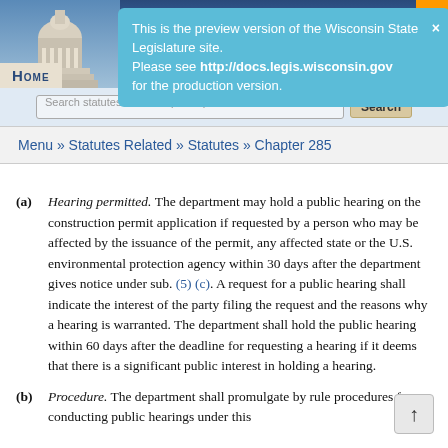[Figure (screenshot): Wisconsin State Legislature website header with capitol building image and HOME tab]
This is the preview version of the Wisconsin State Legislature site. Please see http://docs.legis.wisconsin.gov for the production version.
Search statutes: 16.62 or public parks | Search
Menu » Statutes Related » Statutes » Chapter 285
(a) Hearing permitted. The department may hold a public hearing on the construction permit application if requested by a person who may be affected by the issuance of the permit, any affected state or the U.S. environmental protection agency within 30 days after the department gives notice under sub. (5) (c). A request for a public hearing shall indicate the interest of the party filing the request and the reasons why a hearing is warranted. The department shall hold the public hearing within 60 days after the deadline for requesting a hearing if it deems that there is a significant public interest in holding a hearing.
(b) Procedure. The department shall promulgate by rule procedures for conducting public hearings under this